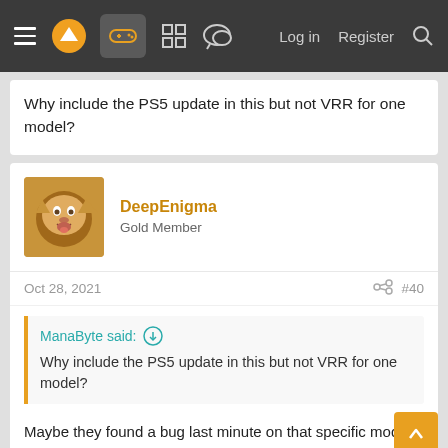Navigation bar with menu, logo, gamepad icon, grid icon, chat icon, Log in, Register, Search
Why include the PS5 update in this but not VRR for one model?
DeepEnigma
Gold Member
Oct 28, 2021   #40
ManaByte said:
Why include the PS5 update in this but not VRR for one model?
Maybe they found a bug last minute on that specific model, or someone messed up with adding it to the driver chain. The chipset is the same as those other TVs mentioned.